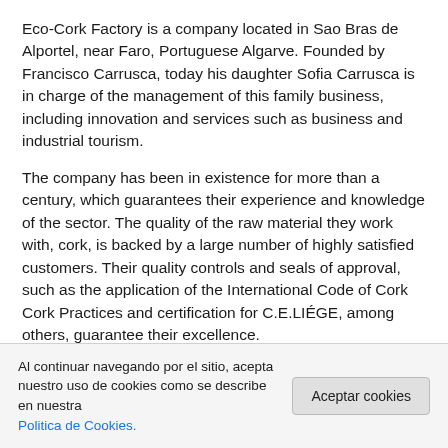Eco-Cork Factory is a company located in Sao Bras de Alportel, near Faro, Portuguese Algarve. Founded by Francisco Carrusca, today his daughter Sofia Carrusca is in charge of the management of this family business, including innovation and services such as business and industrial tourism.
The company has been in existence for more than a century, which guarantees their experience and knowledge of the sector. The quality of the raw material they work with, cork, is backed by a large number of highly satisfied customers. Their quality controls and seals of approval, such as the application of the International Code of Cork Cork Practices and certification for C.E.LIÉGE, among others, guarantee their excellence.
The products offered include cork sheets of different
Al continuar navegando por el sitio, acepta nuestro uso de cookies como se describe en nuestra Politica de Cookies.